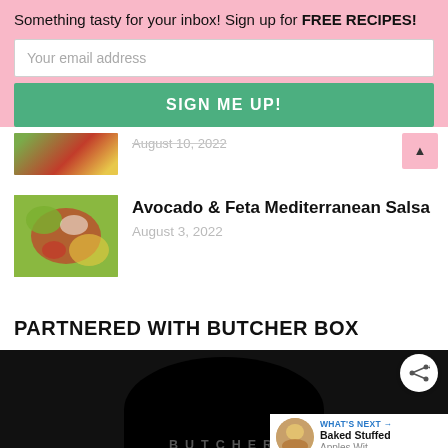Something tasty for your inbox! Sign up for FREE RECIPES!
Your email address
SIGN ME UP!
[Figure (photo): Partial food photo thumbnail (cropped salad image, top portion visible)]
August 10, 2022
[Figure (photo): Avocado and Feta Mediterranean Salsa dish thumbnail]
Avocado & Feta Mediterranean Salsa
August 3, 2022
PARTNERED WITH BUTCHER BOX
[Figure (logo): Butcher Box logo - dark circular logo with BUTCHER text on black background]
WHAT'S NEXT → Baked Stuffed Apples Wit...